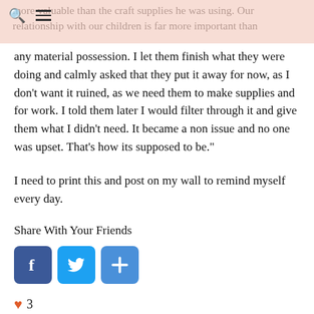more valuable than the craft supplies he was using. Our relationship with our children is far more important than
any material possession. I let them finish what they were doing and calmly asked that they put it away for now, as I don’t want it ruined, as we need them to make supplies and for work. I told them later I would filter through it and give them what I didn’t need. It became a non issue and no one was upset. That’s how its supposed to be.”
I need to print this and post on my wall to remind myself every day.
Share With Your Friends
[Figure (infographic): Three social share buttons: Facebook (blue), Twitter (blue bird), and a plus/share button (blue)]
♥ 3